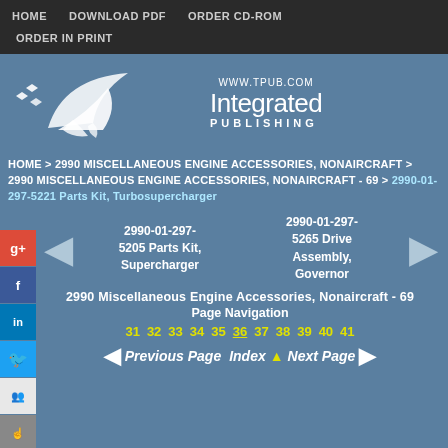HOME   DOWNLOAD PDF   ORDER CD-ROM   ORDER IN PRINT
[Figure (logo): Integrated Publishing logo with bird/wing illustration and www.tpub.com URL]
HOME > 2990 MISCELLANEOUS ENGINE ACCESSORIES, NONAIRCRAFT > 2990 MISCELLANEOUS ENGINE ACCESSORIES, NONAIRCRAFT - 69 > 2990-01-297-5221 Parts Kit, Turbosupercharger
2990-01-297-5205 Parts Kit, Supercharger
2990-01-297-5265 Drive Assembly, Governor
2990 Miscellaneous Engine Accessories, Nonaircraft - 69
Page Navigation
31 32 33 34 35 36 37 38 39 40 41
Previous Page   Index   Next Page